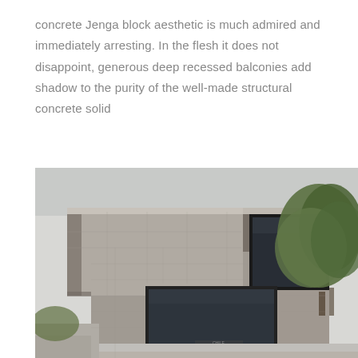concrete Jenga block aesthetic is much admired and immediately arresting. In the flesh it does not disappoint, generous deep recessed balconies add shadow to the purity of the well-made structural concrete solid
[Figure (photo): Photograph of a brutalist concrete building with a Jenga-block aesthetic, showing large stacked rectangular concrete volumes with deep recessed balconies and windows, trees visible on the right side]